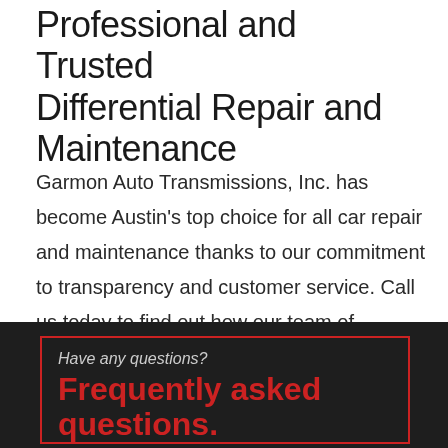Professional and Trusted Differential Repair and Maintenance
Garmon Auto Transmissions, Inc. has become Austin's top choice for all car repair and maintenance thanks to our commitment to transparency and customer service. Call us today to find out how our team of professional mechanics can help you today.
Have any questions? Frequently asked questions.